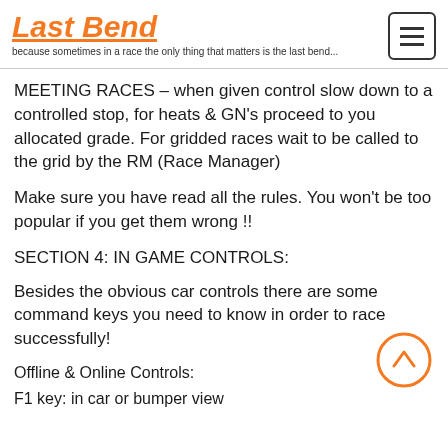Last Bend
because sometimes in a race the only thing that matters is the last bend...
MEETING RACES – when given control slow down to a controlled stop, for heats & GN's proceed to you allocated grade. For gridded races wait to be called to the grid by the RM (Race Manager)
Make sure you have read all the rules. You won't be too popular if you get them wrong !!
SECTION 4: IN GAME CONTROLS:
Besides the obvious car controls there are some command keys you need to know in order to race successfully!
[Figure (illustration): Orange circle with an upward-pointing chevron/caret inside, serving as a back-to-top button]
Offline & Online Controls:
F1 key: in car or bumper view